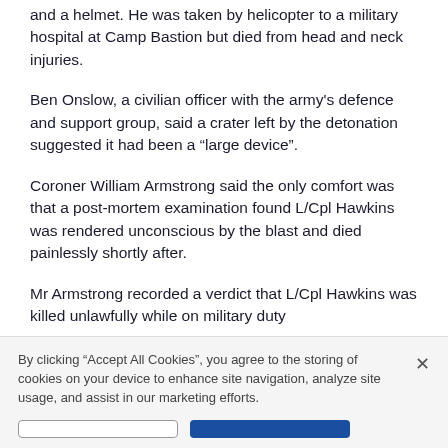and a helmet. He was taken by helicopter to a military hospital at Camp Bastion but died from head and neck injuries.
Ben Onslow, a civilian officer with the army's defence and support group, said a crater left by the detonation suggested it had been a “large device”.
Coroner William Armstrong said the only comfort was that a post-mortem examination found L/Cpl Hawkins was rendered unconscious by the blast and died painlessly shortly after.
Mr Armstrong recorded a verdict that L/Cpl Hawkins was killed unlawfully while on military duty
By clicking “Accept All Cookies”, you agree to the storing of cookies on your device to enhance site navigation, analyze site usage, and assist in our marketing efforts.